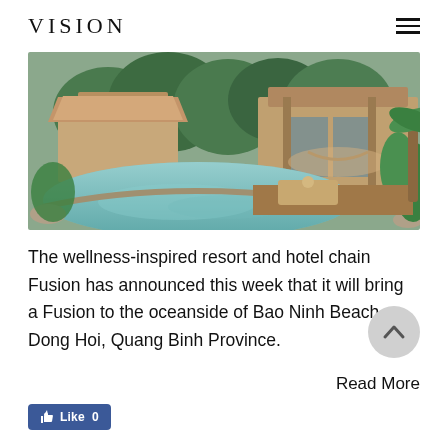VISION
[Figure (photo): Luxury resort pool area with tropical vegetation, thatched roof bungalows, a hammock, and infinity pool reflecting the surroundings.]
The wellness-inspired resort and hotel chain Fusion has announced this week that it will bring a Fusion to the oceanside of Bao Ninh Beach, Dong Hoi, Quang Binh Province.
Read More
[Figure (illustration): Circular scroll-to-top button with upward arrow chevron on grey background.]
[Figure (other): Facebook Like button showing thumbs up icon and Like 0 count.]